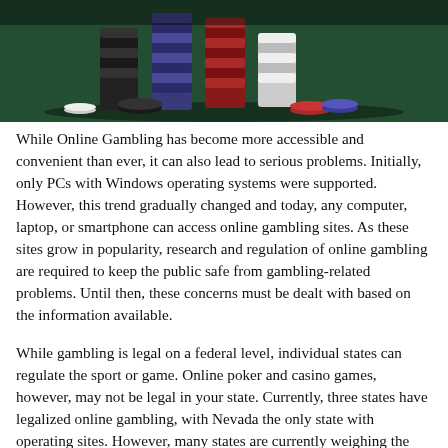[Figure (photo): Photograph of poker chips stacked on a green casino table felt surface. Various colored chips including black, red, blue and white are visible.]
While Online Gambling has become more accessible and convenient than ever, it can also lead to serious problems. Initially, only PCs with Windows operating systems were supported. However, this trend gradually changed and today, any computer, laptop, or smartphone can access online gambling sites. As these sites grow in popularity, research and regulation of online gambling are required to keep the public safe from gambling-related problems. Until then, these concerns must be dealt with based on the information available.
While gambling is legal on a federal level, individual states can regulate the sport or game. Online poker and casino games, however, may not be legal in your state. Currently, three states have legalized online gambling, with Nevada the only state with operating sites. However, many states are currently weighing the possibility of legalizing online